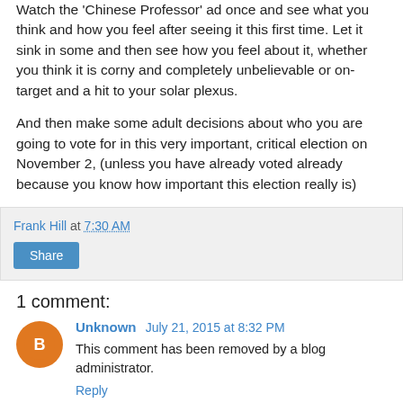Watch the 'Chinese Professor' ad once and see what you think and how you feel after seeing it this first time. Let it sink in some and then see how you feel about it, whether you think it is corny and completely unbelievable or on-target and a hit to your solar plexus.

And then make some adult decisions about who you are going to vote for in this very important, critical election on November 2, (unless you have already voted already because you know how important this election really is)
Frank Hill at 7:30 AM
Share
1 comment:
Unknown July 21, 2015 at 8:32 PM
This comment has been removed by a blog administrator.
Reply